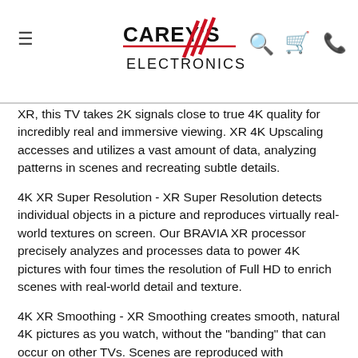Carey's Electronics — navigation header with logo, search, cart, phone icons
XR, this TV takes 2K signals close to true 4K quality for incredibly real and immersive viewing. XR 4K Upscaling accesses and utilizes a vast amount of data, analyzing patterns in scenes and recreating subtle details.
4K XR Super Resolution - XR Super Resolution detects individual objects in a picture and reproduces virtually real-world textures on screen. Our BRAVIA XR processor precisely analyzes and processes data to power 4K pictures with four times the resolution of Full HD to enrich scenes with real-world detail and texture.
4K XR Smoothing - XR Smoothing creates smooth, natural 4K pictures as you watch, without the "banding" that can occur on other TVs. Scenes are reproduced with thousands of tones, shades, and gradations, making them